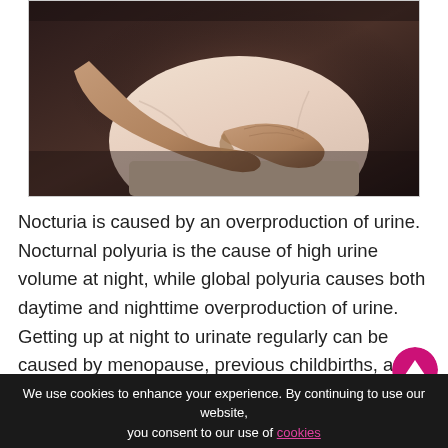[Figure (photo): Close-up photo of a person in white clothing holding their lower abdomen/pelvic area with both hands, suggesting abdominal or bladder discomfort. Dark background.]
Nocturia is caused by an overproduction of urine. Nocturnal polyuria is the cause of high urine volume at night, while global polyuria causes both daytime and nighttime overproduction of urine. Getting up at night to urinate regularly can be caused by menopause, previous childbirths, and pelvic organ prolapse and the condition can be worsened with excessive fluid intake before going to bed. Alcohol, caffeine, reduced bladder capacity, and diuretic medications may increase the need to void the bladder at night. It can be li...
We use cookies to enhance your experience. By continuing to use our website, you consent to our use of cookies